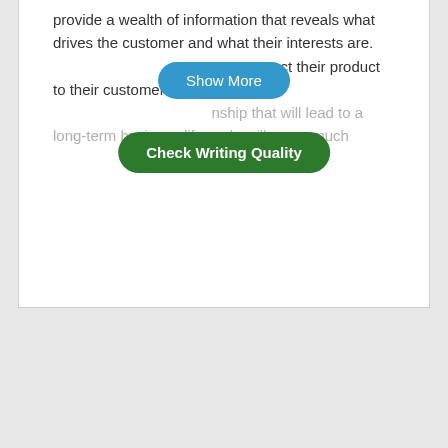provide a wealth of information that reveals what drives the customer and what their interests are. [Show More button] at can connect their product to their customer's interests, [Check Writing Quality button] nship that will lead to a long-term business life cycle will prove much
[Figure (screenshot): Blue 'Show More' button overlaid on text]
[Figure (screenshot): Green 'Check Writing Quality' button overlaid on text]